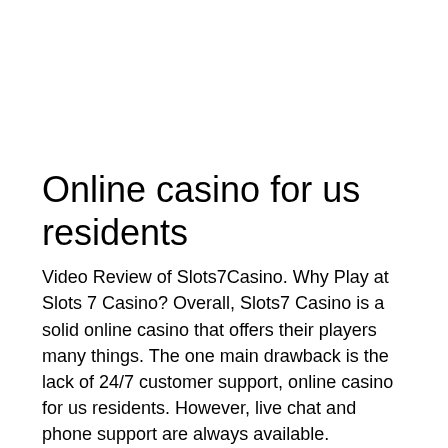Online casino for us residents
Video Review of Slots7Casino. Why Play at Slots 7 Casino? Overall, Slots7 Casino is a solid online casino that offers their players many things. The one main drawback is the lack of 24/7 customer support, online casino for us residents. However, live chat and phone support are always available.
Get your 6,000,000 bonus coins and double down to get a big win, online casino for us residents.
Free slots play no deposit both the usual